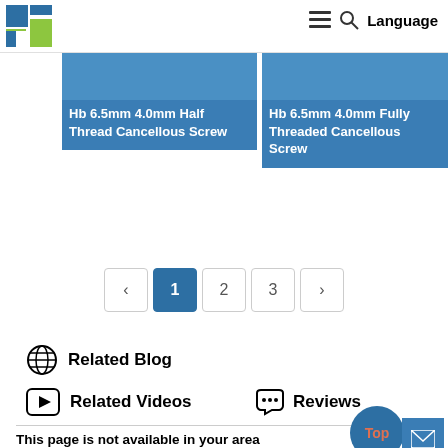[Figure (screenshot): Website header with logo, hamburger menu icon, search icon, and Language text]
[Figure (screenshot): Product card: Hb 6.5mm 4.0mm Half Thread Cancellous Screw, blue card with top label 'Cancellous Bone Screw Half Thread-Genmed Medical']
[Figure (screenshot): Product card: Hb 6.5mm 4.0mm Fully Threaded Cancellous Screw, blue card with top label 'Cancellous Bone Screw-Genmed Medical']
‹  1  2  3  › pagination controls
Related Blog
Related Videos
Reviews
This page is not available in your area